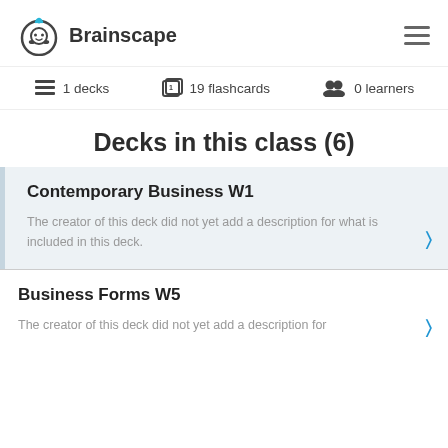Brainscape
1 decks   19 flashcards   0 learners
Decks in this class (6)
Contemporary Business W1
The creator of this deck did not yet add a description for what is included in this deck.
Business Forms W5
The creator of this deck did not yet add a description for